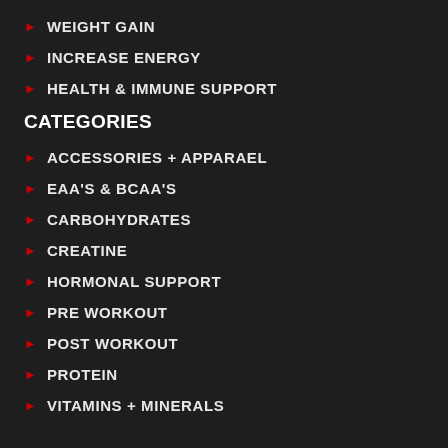WEIGHT GAIN
INCREASE ENERGY
HEALTH & IMMUNE SUPPORT
CATEGORIES
ACCESSORIES + APPARAEL
EAA's & BCAA's
CARBOHYDRATES
CREATINE
HORMONAL SUPPORT
PRE WORKOUT
POST WORKOUT
PROTEIN
VITAMINS + MINERALS